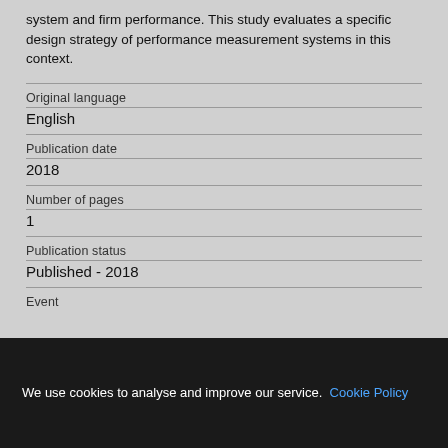system and firm performance. This study evaluates a specific design strategy of performance measurement systems in this context.
| Original language | English |
| Publication date | 2018 |
| Number of pages | 1 |
| Publication status | Published - 2018 |
| Event |  |
We use cookies to analyse and improve our service. Cookie Policy